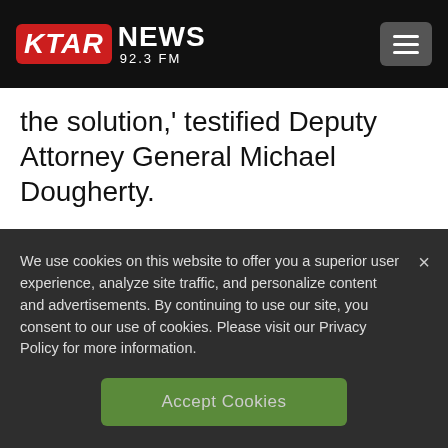[Figure (logo): KTAR News 92.3 FM logo on black header bar with red badge and hamburger menu button]
the solution,' testified Deputy Attorney General Michael Dougherty.
Threat of federal intervention appears to be growing. American Express announced last May it would no longer handle medical
We use cookies on this website to offer you a superior user experience, analyze site traffic, and personalize content and advertisements. By continuing to use our site, you consent to our use of cookies. Please visit our Privacy Policy for more information.